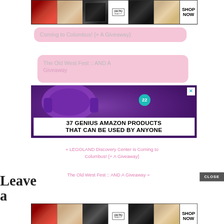[Figure (photo): ULTA beauty advertisement banner with makeup photos and SHOP NOW button]
Coming to Columbus! {+ A Giveaway}
The Old West Fest :: AND A Giveaway
[Figure (photo): Advertisement: 37 GENIUS AMAZON PRODUCTS THAT CAN BE USED BY ANYONE, featuring purple headphones on wood background, with badge '22' and close X button]
« LEGOLAND Discovery Center is Coming to Columbus! {+ A Giveaway}
The Old West Fest :: AND A Giveaway »
Leave a
[Figure (photo): ULTA beauty advertisement banner (bottom) with makeup photos and SHOP NOW button]
CLOSE